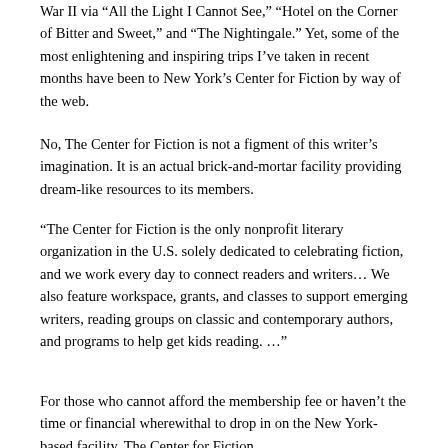War II via “All the Light I Cannot See,” “Hotel on the Corner of Bitter and Sweet,” and “The Nightingale.” Yet, some of the most enlightening and inspiring trips I’ve taken in recent months have been to New York’s Center for Fiction by way of the web.
No, The Center for Fiction is not a figment of this writer’s imagination. It is an actual brick-and-mortar facility providing dream-like resources to its members.
“The Center for Fiction is the only nonprofit literary organization in the U.S. solely dedicated to celebrating fiction, and we work every day to connect readers and writers… We also feature workspace, grants, and classes to support emerging writers, reading groups on classic and contemporary authors, and programs to help get kids reading. …”
For those who cannot afford the membership fee or haven’t the time or financial wherewithal to drop in on the New York-based facility, The Center for Fiction